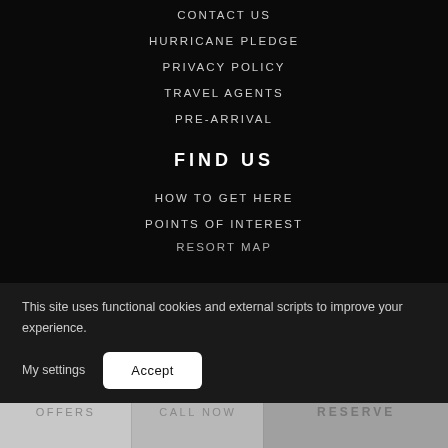CONTACT US
HURRICANE PLEDGE
PRIVACY POLICY
TRAVEL AGENTS
PRE-ARRIVAL
FIND US
HOW TO GET HERE
POINTS OF INTEREST
RESORT MAP
This site uses functional cookies and external scripts to improve your experience.
My settings
Accept
OFFERS
CALL NOW
RESERVE